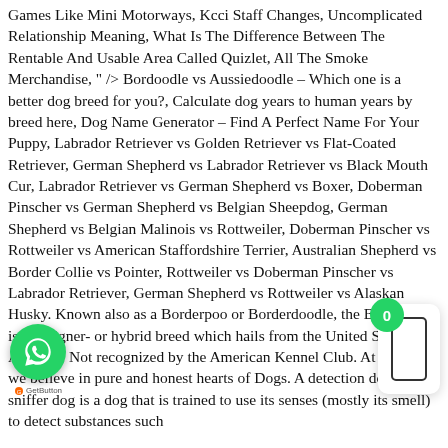Games Like Mini Motorways, Kcci Staff Changes, Uncomplicated Relationship Meaning, What Is The Difference Between The Rentable And Usable Area Called Quizlet, All The Smoke Merchandise, " /> Bordoodle vs Aussiedoodle – Which one is a better dog breed for you?, Calculate dog years to human years by breed here, Dog Name Generator – Find A Perfect Name For Your Puppy, Labrador Retriever vs Golden Retriever vs Flat-Coated Retriever, German Shepherd vs Labrador Retriever vs Black Mouth Cur, Labrador Retriever vs German Shepherd vs Boxer, Doberman Pinscher vs German Shepherd vs Belgian Sheepdog, German Shepherd vs Belgian Malinois vs Rottweiler, Doberman Pinscher vs Rottweiler vs American Staffordshire Terrier, Australian Shepherd vs Border Collie vs Pointer, Rottweiler vs Doberman Pinscher vs Labrador Retriever, German Shepherd vs Rottweiler vs Alaskan Husky. Known also as a Borderpoo or Borderdoodle, the Bordoodle is a designer- or hybrid breed which hails from the United States of America. Not recognized by the American Kennel Club. At Dogell we believe in pure and honest hearts of Dogs. A detection dog or sniffer dog is a dog that is trained to use its senses (mostly its smell) to detect substances such
[Figure (other): WhatsApp chat button (green circle with WhatsApp logo) with GetButton label beneath]
[Figure (other): Notification badge showing 0 (green circle) and a white popup box with phone icon outline]